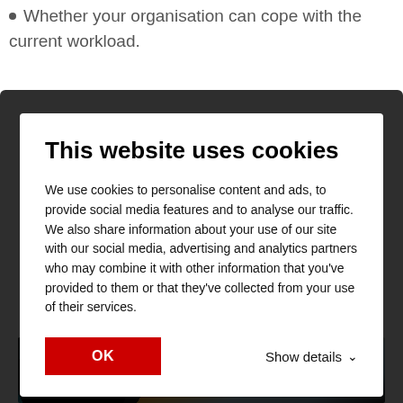Whether your organisation can cope with the current workload.
[Figure (screenshot): Cookie consent modal overlay on a webpage. Title: 'This website uses cookies'. Body text explaining cookie usage for personalising content and ads, social media features, and traffic analysis. Contains an OK button (red) and 'Show details' link with chevron.]
figures at any time.
[Figure (photo): Partial photo strip showing charts and graphs on paper/tablet, with orange, blue, and teal colors visible.]